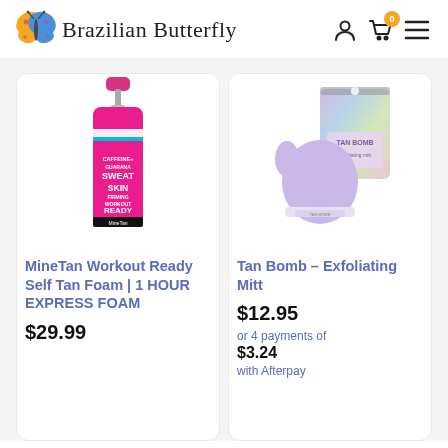[Figure (logo): Brazilian Butterfly logo with butterfly icon and script text]
[Figure (photo): MineTan Workout Ready Self Tan Foam product - pink bottle with white text]
MineTan Workout Ready Self Tan Foam | 1 HOUR EXPRESS FOAM
$29.99
[Figure (photo): Tan Bomb Exfoliating Mitt - lavender mitt with holographic bag packaging]
Tan Bomb – Exfoliating Mitt
$12.95
or 4 payments of
$3.24
with Afterpay